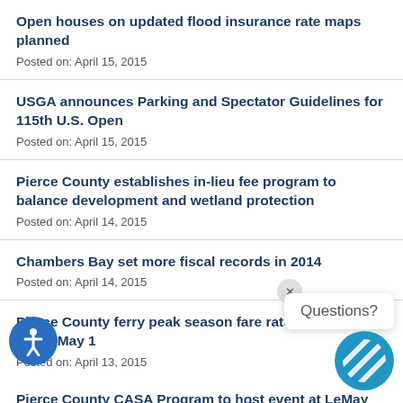Open houses on updated flood insurance rate maps planned
Posted on: April 15, 2015
USGA announces Parking and Spectator Guidelines for 115th U.S. Open
Posted on: April 15, 2015
Pierce County establishes in-lieu fee program to balance development and wetland protection
Posted on: April 14, 2015
Chambers Bay set more fiscal records in 2014
Posted on: April 14, 2015
Pierce County ferry peak season fare rates take effect May 1
Posted on: April 13, 2015
Pierce County CASA Program to host event at LeMay